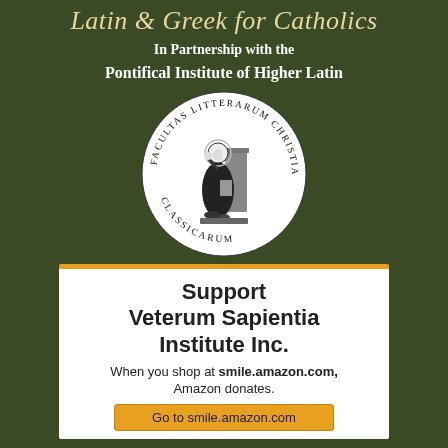Latin & Greek for Catholics
In Partnership with the
Pontifical Institute of Higher Latin
[Figure (logo): Circular seal of the Pontifical Institute with Latin text 'FACULTAS LITTERARUM CHRISTIANARUM ET CLASSICARUM' around the border and a seated scholar figure in the center]
Support Veterum Sapientia Institute Inc.
When you shop at smile.amazon.com, Amazon donates.
Go to smile.amazon.com